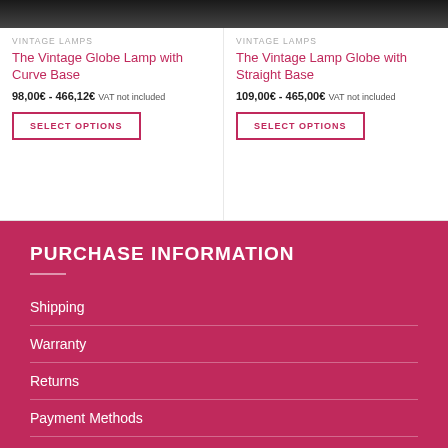[Figure (photo): Top portion of vintage lamp product image with dark background, left card]
VINTAGE LAMPS
The Vintage Globe Lamp with Curve Base
98,00€ - 466,12€ VAT not included
SELECT OPTIONS
[Figure (photo): Top portion of vintage lamp product image with dark background, right card]
VINTAGE LAMPS
The Vintage Lamp Globe with Straight Base
109,00€ - 465,00€ VAT not included
SELECT OPTIONS
PURCHASE INFORMATION
Shipping
Warranty
Returns
Payment Methods